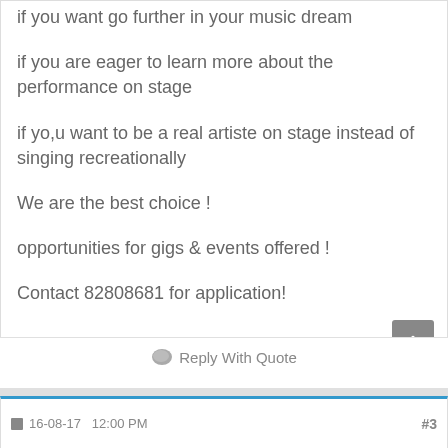if you want go further in your music dream
if you are eager to learn more about the performance on stage
if yo,u want to be a real artiste on stage instead of singing recreationally
We are the best choice !
opportunities for gigs & events offered !
Contact 82808681 for application!
Reply With Quote
16-08-17   12:00 PM   #3